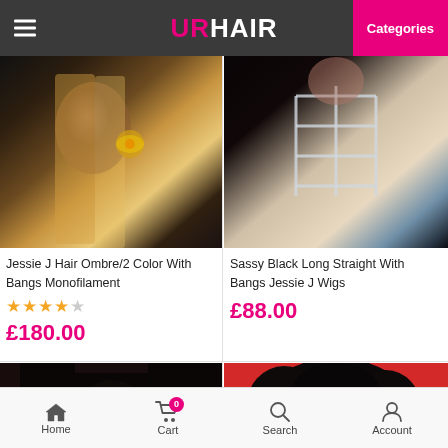URHAIR — Categories
[Figure (photo): Woman with long blonde ombre hair wearing sunflower brooch on dark floral outfit]
Jessie J Hair Ombre/2 Color With Bangs Monofilament
★★★★☆
£180.00
[Figure (photo): Woman in white harness-style top with dark hair]
Sassy Black Long Straight With Bangs Jessie J Wigs
£88.00
[Figure (photo): Woman with long black straight hair with blunt bangs, smiling, wearing blue scarf]
[Figure (photo): Woman with short curly black hair, red background partially visible]
Home   Cart   Search   Account